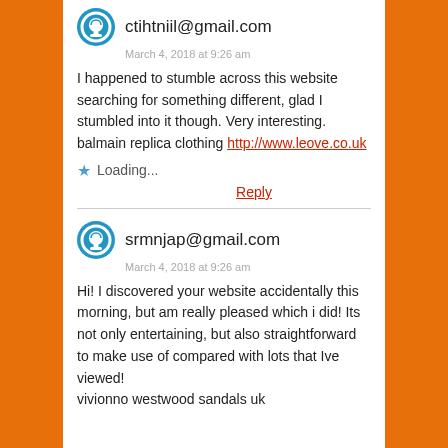ctihtniil@gmail.com
March 4, 2018 at 9:26 am
I happened to stumble across this website searching for something different, glad I stumbled into it though. Very interesting.
balmain replica clothing http://www.leove.co.uk
Loading...
Reply
srmnjap@gmail.com
March 4, 2018 at 9:26 am
Hi! I discovered your website accidentally this morning, but am really pleased which i did! Its not only entertaining, but also straightforward to make use of compared with lots that Ive viewed!
vivionno westwood sandals uk